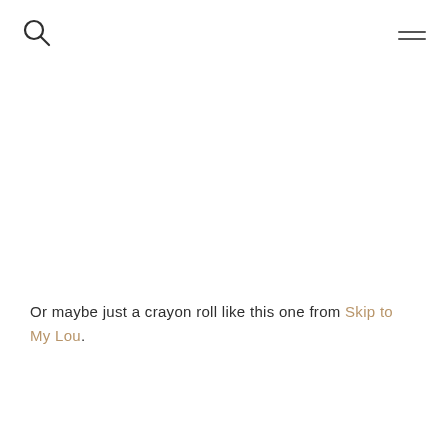[Figure (other): Search icon (magnifying glass) in top-left corner of page header]
[Figure (other): Hamburger menu icon (two horizontal lines) in top-right corner of page header]
Or maybe just a crayon roll like this one from Skip to My Lou.